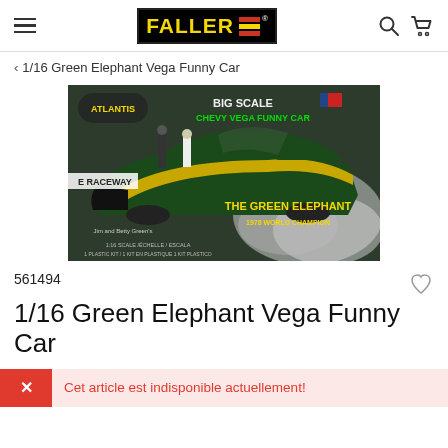FALLER (logo)
< 1/16 Green Elephant Vega Funny Car
[Figure (photo): Product box art for Atlantis 1:16 scale Big Scale Chevy Vega Funny Car 'The Green Elephant', Jim and Betty Green's 1978 World Champion model kit, showing a green and gold drag racing funny car performing a burnout with smoke.]
561494
1/16 Green Elephant Vega Funny Car
Cet article est indisponible actuellement!